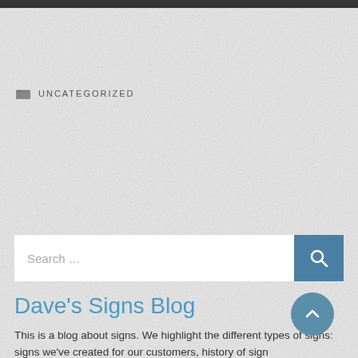UNCATEGORIZED
[Figure (screenshot): Search input box with placeholder text 'Search ...' and a blue search button with magnifying glass icon]
Dave’s Signs Blog
This is a blog about signs. We highlight the different types of signs: signs we’ve created for our customers, history of sign